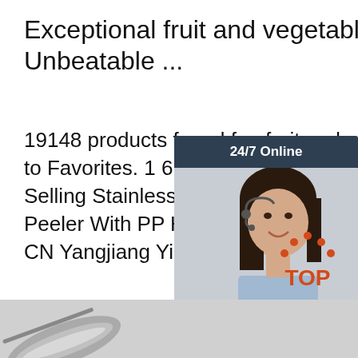Exceptional fruit and vegetable grinder At Unbeatable ...
19148 products found for. fruit and vegetable grinder. Add to Favorites. 1 6. Fruit And Vegetable High Quality Hot Selling Stainless Steel Kitchen Accessories Fruit And Vegetable Peeler With PP Handle. $0.27-$1.07 Pieces (Min. Order) CN Yangjiang Yile Housewares Co., Ltd. 1 YRS.
[Figure (photo): 24/7 online chat widget with a woman wearing a headset, smiling. Includes a QUOTATION button.]
[Figure (logo): TOP icon with orange dots arranged as an arc/hat above the word TOP in orange text]
[Figure (photo): Bottom strip showing partial image of metallic kitchen tool on grey background]